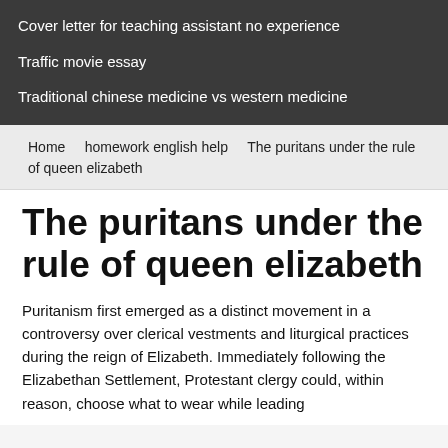Cover letter for teaching assistant no experience
Traffic movie essay
Traditional chinese medicine vs western medicine
Home   homework english help   The puritans under the rule of queen elizabeth
The puritans under the rule of queen elizabeth
Puritanism first emerged as a distinct movement in a controversy over clerical vestments and liturgical practices during the reign of Elizabeth. Immediately following the Elizabethan Settlement, Protestant clergy could, within reason, choose what to wear while leading